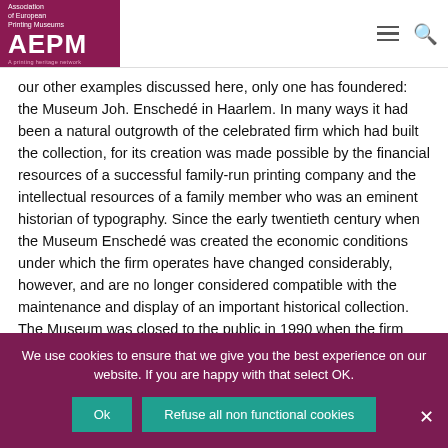[Figure (logo): AEPM Association of European Printing Museums logo in magenta/dark pink with white text]
our other examples discussed here, only one has foundered: the Museum Joh. Enschedé in Haarlem. In many ways it had been a natural outgrowth of the celebrated firm which had built the collection, for its creation was made possible by the financial resources of a successful family-run printing company and the intellectual resources of a family member who was an eminent historian of typography. Since the early twentieth century when the Museum Enschedé was created the economic conditions under which the firm operates have changed considerably, however, and are no longer considered compatible with the maintenance and display of an important historical collection. The Museum was closed to the public in 1990 when the firm completed its move from the historic site at Klokhuisplein to an outlying industrial park, though the firm continued to finance the daunting task of cataloging its collection, albeit with a
We use cookies to ensure that we give you the best experience on our website. If you are happy with that select OK.